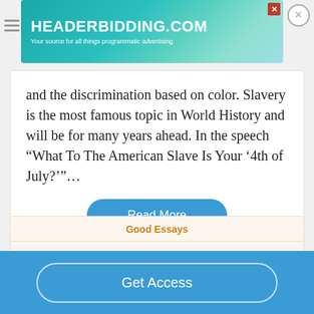[Figure (screenshot): Advertisement banner for headerbidding.com - teal gradient background with white text]
and the discrimination based on color. Slavery is the most famous topic in World History and will be for many years ahead. In the speech “What To The American Slave Is Your ‘4th of July?’”…
Read More
Good Essays
Frederick Douglass Use And Abuse Of Power Essay
Get Access